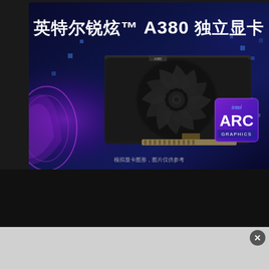[Figure (photo): Intel Arc A380 graphics card promotional image with Chinese text '英特尔锐炫™ A380 独立显卡' (Intel Arc A380 discrete graphics card). Shows a black GPU with a large fan against a dark blue/purple space-themed background with glowing effects. Intel ARC GRAPHICS badge visible in lower right of the card image. Small caption text at bottom reads '模拟显卡图形，图片仅供参考' (simulated graphics card image, for reference only).]